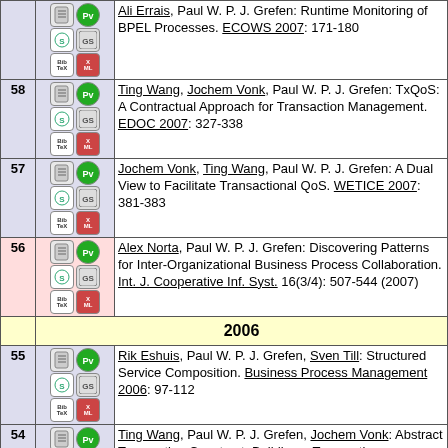| # | Icons | Reference |
| --- | --- | --- |
|  |  | Ali Errais, Paul W. P. J. Grefen: Runtime Monitoring of BPEL Processes. ECOWS 2007: 171-180 |
| 58 |  | Ting Wang, Jochem Vonk, Paul W. P. J. Grefen: TxQoS: A Contractual Approach for Transaction Management. EDOC 2007: 327-338 |
| 57 |  | Jochem Vonk, Ting Wang, Paul W. P. J. Grefen: A Dual View to Facilitate Transactional QoS. WETICE 2007: 381-383 |
| 56 |  | Alex Norta, Paul W. P. J. Grefen: Discovering Patterns for Inter-Organizational Business Process Collaboration. Int. J. Cooperative Inf. Syst. 16(3/4): 507-544 (2007) |
|  | 2006 |  |
| 55 |  | Rik Eshuis, Paul W. P. J. Grefen, Sven Till: Structured Service Composition. Business Process Management 2006: 97-112 |
| 54 |  | Ting Wang, Paul W. P. J. Grefen, Jochem Vonk: Abstract Transaction Construct: Building a Transaction Framework for Contract-Driven, Service-Oriented Business Processes. ICSOC 2006: 434-439 |
| 53 |  | Alex Norta, Marcel Hendrix, Paul W. P. J. Grefen: A |